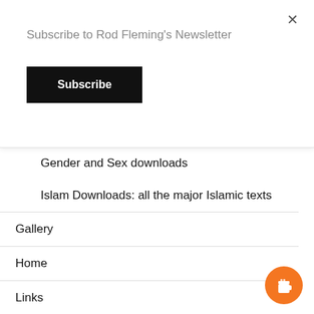Subscribe to Rod Fleming's Newsletter
Subscribe
Gender and Sex downloads
Islam Downloads: all the major Islamic texts
Gallery
Home
Links
Links from Transkids r Us
Psychology, Sex and Gender: Links
Transsexualism and transgender: links & articles